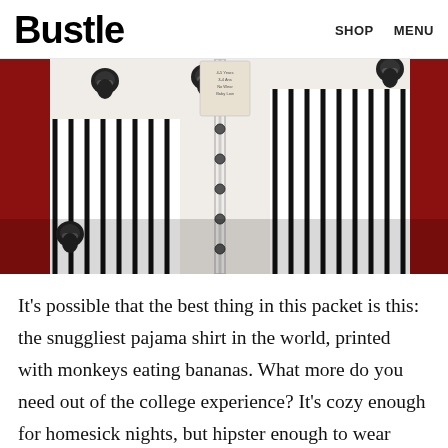Bustle  SHOP  MENU
[Figure (photo): Close-up photograph of a white pajama shirt printed with black-and-white monkey illustrations eating bananas, with black and white striped fabric panels on either side, laid on a red background.]
It's possible that the best thing in this packet is this: the snuggliest pajama shirt in the world, printed with monkeys eating bananas. What more do you need out of the college experience? It's cozy enough for homesick nights, but hipster enough to wear while eating the inevitable 3 AM Papa John's delivery with